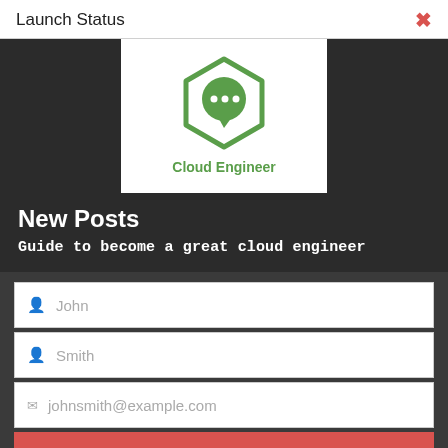Launch Status
[Figure (logo): Cloud Engineer logo — green hexagon outline with a green speech bubble circle inside, and 'Cloud Engineer' text in green below]
New Posts
Guide to become a great cloud engineer
[Figure (screenshot): Form fields: First name 'John', Last name 'Smith', Email 'johnsmith@example.com', and a red Submit button]